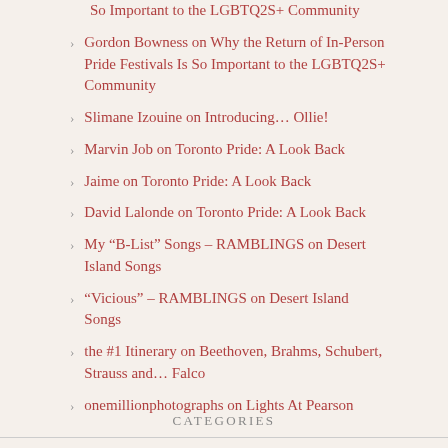So Important to the LGBTQ2S+ Community
Gordon Bowness on Why the Return of In-Person Pride Festivals Is So Important to the LGBTQ2S+ Community
Slimane Izouine on Introducing… Ollie!
Marvin Job on Toronto Pride: A Look Back
Jaime on Toronto Pride: A Look Back
David Lalonde on Toronto Pride: A Look Back
My “B-List” Songs – RAMBLINGS on Desert Island Songs
“Vicious” – RAMBLINGS on Desert Island Songs
the #1 Itinerary on Beethoven, Brahms, Schubert, Strauss and… Falco
onemillionphotographs on Lights At Pearson
CATEGORIES